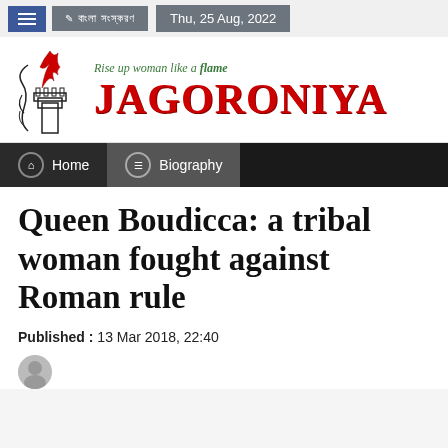Thu, 25 Aug, 2022
[Figure (logo): Jagoroniya logo with tagline 'Rise up woman like a flame' and decorative torch/flame illustration]
Home | Biography
Queen Boudicca: a tribal woman fought against Roman rule
Published : 13 Mar 2018, 22:40